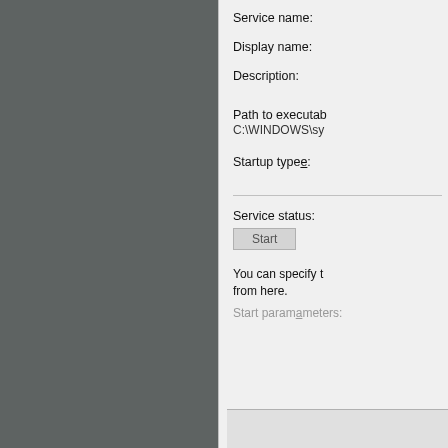[Figure (screenshot): Torn paper / dark gray background on the left side of the image, partially overlapping a Windows Services dialog panel on the right.]
Service name:
Display name:
Description:
Path to executable:
C:\WINDOWS\sy
Startup type:
Service status:
Start
You can specify the start parameters that apply when you start the service from here.
Start parameters: